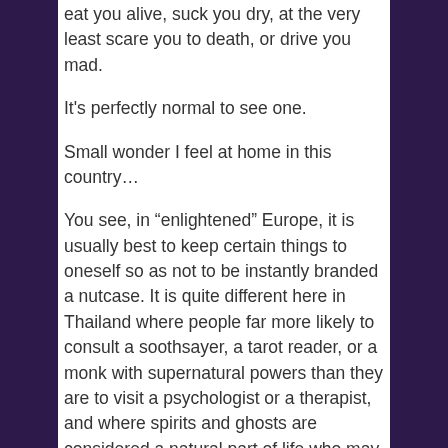eat you alive, suck you dry, at the very least scare you to death, or drive you mad.
It's perfectly normal to see one.
Small wonder I feel at home in this country…
You see, in “enlightened” Europe, it is usually best to keep certain things to oneself so as not to be instantly branded a nutcase. It is quite different here in Thailand where people far more likely to consult a soothsayer, a tarot reader, or a monk with supernatural powers than they are to visit a psychologist or a therapist, and where spirits and ghosts are considered a natural part of life who may be consulted for anything from murder to fertility issues to lottery numbers.
How did I find out?